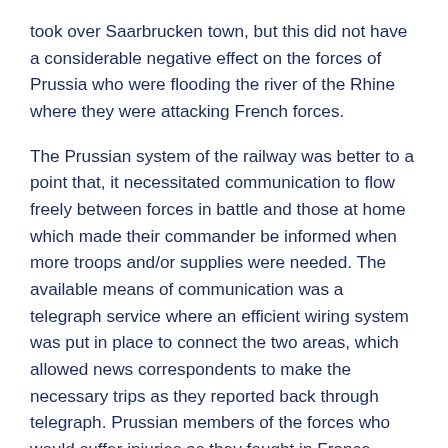took over Saarbrucken town, but this did not have a considerable negative effect on the forces of Prussia who were flooding the river of the Rhine where they were attacking French forces.
The Prussian system of the railway was better to a point that, it necessitated communication to flow freely between forces in battle and those at home which made their commander be informed when more troops and/or supplies were needed. The available means of communication was a telegraph service where an efficient wiring system was put in place to connect the two areas, which allowed news correspondents to make the necessary trips as they reported back through telegraph. Prussian members of the forces who would suffer injuries as they fought in France would be transported back to their home country for timely treatment as others would be sent to replace them, which made the Prussian army more effective as casualties were not kept in battle.